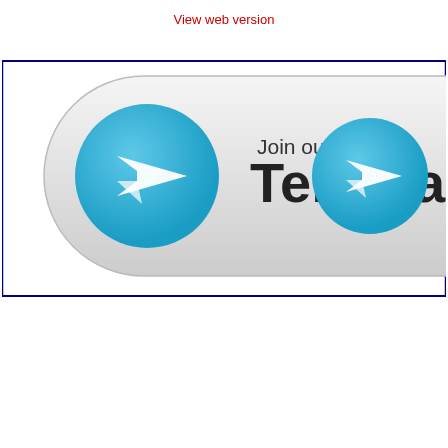View web version
[Figure (illustration): Telegram 'Join our Telegram' button graphic with two Telegram paper-plane icons on a rounded grey gradient button, inside a navy-bordered box with top and bottom bars.]